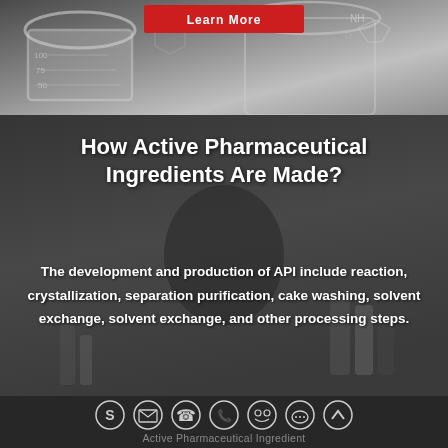[Figure (photo): Top banner with laboratory glassware (beakers, flasks) and chemical structure diagrams on a grey background, with a red button labeled 'Learn More']
[Figure (photo): Scientist/laboratory worker in white coat working with test tubes and lab equipment, dark overlay background]
How Active Pharmaceutical Ingredients Are Made?
The development and production of API include reaction, crystallization, separation purification, cake washing, solvent exchange, solvent exchange, and other processing steps.
Active Pharmaceutical Ingredient